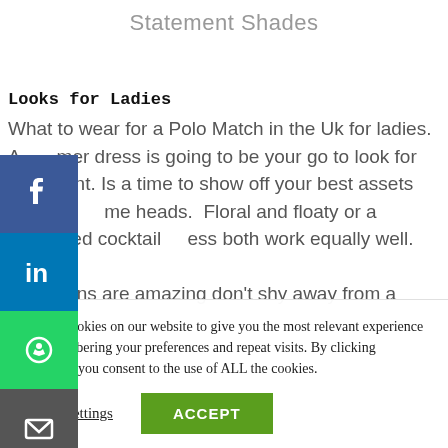Statement Shades
Looks for Ladies
What to wear for a Polo Match in the Uk for ladies.  A [su]mmer dress is going to be your go to look for this [ev]ent. Is a time to show off your best assets and turn [so]me heads.  Floral and floaty or a structured cocktail [dr]ess both work equally well.

[If y]our pins are amazing don’t shy away from a shorter
We use cookies on our website to give you the most relevant experience by remembering your preferences and repeat visits. By clicking “Accept”, you consent to the use of ALL the cookies.